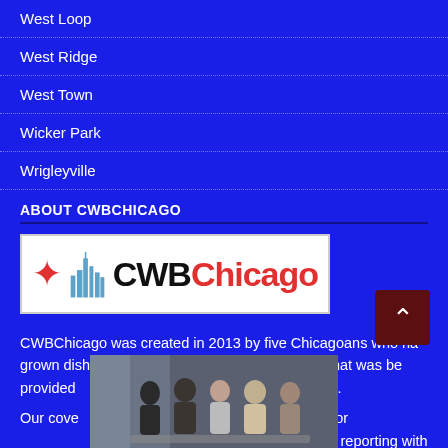West Loop
West Ridge
West Town
Wicker Park
Wrigleyville
ABOUT CWBCHICAGO
[Figure (logo): CWBChicago logo with red star and blue city skyline silhouette on white background]
CWBChicago was created in 2013 by five Chicagoans who had grown disheartened with inaccurate information that was being provided about community public safety meetings.
Our coverage area focuses on North Side neighborhoods and our mission has not changed: To provide original public safety reporting with better context and greater
[Figure (photo): Photo of a group of people having a meeting or discussion at a table]